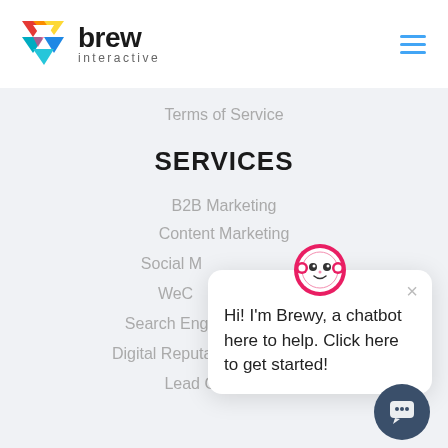[Figure (logo): Brew Interactive logo with colorful triangular icon and brand name]
Terms of Service
SERVICES
B2B Marketing
Content Marketing
Social M...
WeC...
Search Engi...
Digital Reputation Management
Lead Generation
[Figure (screenshot): Chatbot popup with Brewy avatar saying: Hi! I'm Brewy, a chatbot here to help. Click here to get started!]